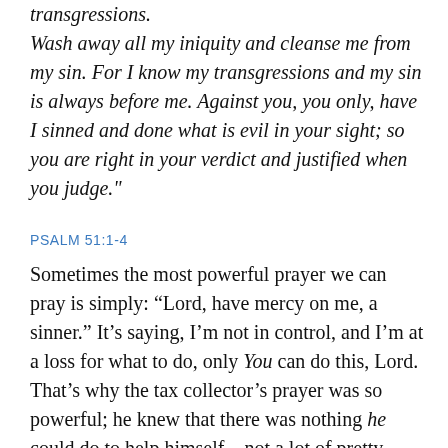transgressions. Wash away all my iniquity and cleanse me from my sin. For I know my transgressions and my sin is always before me. Against you, you only, have I sinned and done what is evil in your sight; so you are right in your verdict and justified when you judge."
PSALM 51:1-4
Sometimes the most powerful prayer we can pray is simply: “Lord, have mercy on me, a sinner.” It’s saying, I’m not in control, and I’m at a loss for what to do, only You can do this, Lord. That’s why the tax collector’s prayer was so powerful; he knew that there was nothing he could do to help himself – not a lot of pretty words, or creative justifications, or a laundry listing of the many things that he thought he had done right or better than anyone else. He knew that he didn’t know, that when